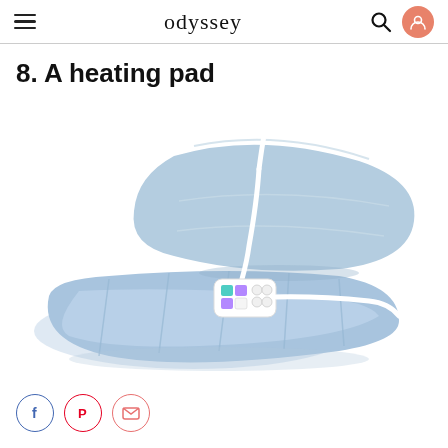odyssey
8. A heating pad
[Figure (photo): A light blue electric heating pad folded in half with a white control unit featuring colored buttons, and a white cord, photographed on a white background.]
Social sharing icons: Facebook, Pinterest, Email